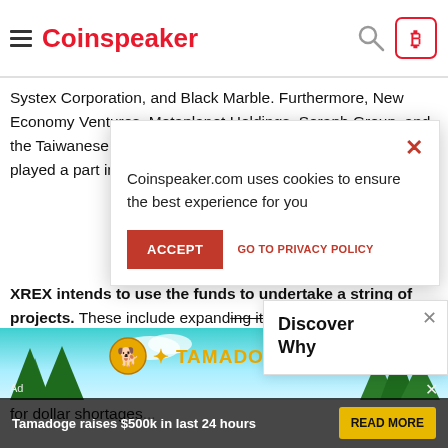Coinspeaker
Systex Corporation, and Black Marble. Furthermore, New Economy Ventures, Metaplanet Holdings, Seraph Group, and the Taiwanese government's National Development Fund also played a part in the investment round.
XREX intends to use the funds to undertake a string of projects. These include expanding its fiat currency portfolio, procuring licenses, and new pa... and digital wallet p... company's objective... for dollar shortages...
According to XREX's
[Figure (screenshot): Cookie consent modal: 'Coinspeaker.com uses cookies to ensure the best experience for you' with ACCEPT button and GO TO PRIVACY POLICY link]
[Figure (screenshot): Discover Why popup in top-right corner with close button]
[Figure (screenshot): Tamadoge advertisement banner at bottom: 'Tamadoge raises $500k in last 24 hours' with READ MORE button]